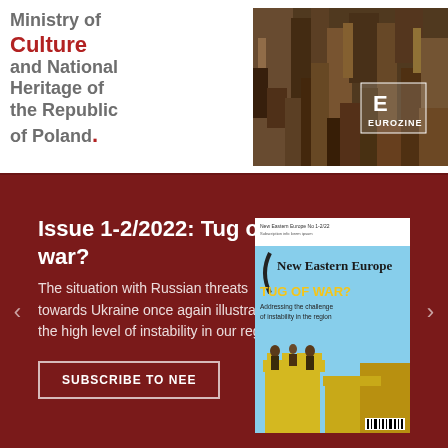[Figure (logo): Ministry of Culture and National Heritage of the Republic of Poland logo with text]
[Figure (photo): Eurozine logo overlaid on a photo of stacked books/library shelves]
Issue 1-2/2022: Tug of war?
The situation with Russian threats towards Ukraine once again illustrates the high level of instability in our region.
SUBSCRIBE TO NEE
[Figure (photo): New Eastern Europe magazine cover Issue 1-2/2022 titled TUG OF WAR? Addressing the challenge of instability in the region]